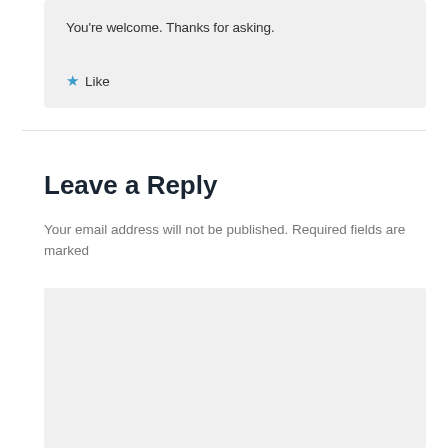You're welcome. Thanks for asking.
★ Like
Leave a Reply
Your email address will not be published. Required fields are marked
[Figure (other): Comment text input area — a large light gray rectangle serving as a comment entry field]